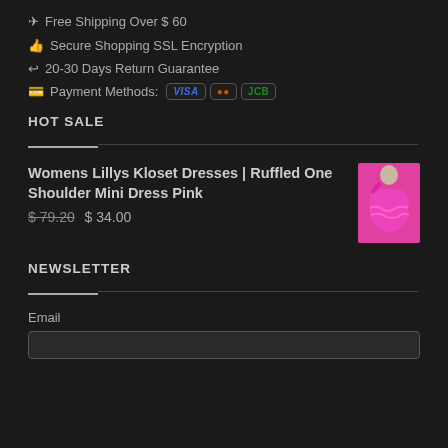✈ Free Shipping Over $ 60
👍 Secure Shopping SSL Encryption
↩ 20-30 Days Return Guarantee
💳 Payment Methods: VISA | Mastercard | JCB
HOT SALE
Womens Lillys Kloset Dresses | Ruffled One Shoulder Mini Dress Pink
$79.20  $ 34.00
[Figure (photo): Pink ruffled one shoulder mini dress worn by a model]
NEWSLETTER
Email